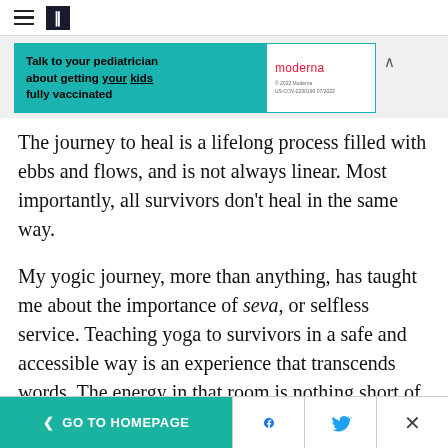HuffPost navigation header with hamburger menu and logo
[Figure (other): Moderna advertisement banner: 'Talk to your pediatrician about getting your kids fully vaccinated' with Moderna logo and fine print '© 2022 Moderna US-COV-2200190 07/2022']
The journey to heal is a lifelong process filled with ebbs and flows, and is not always linear. Most importantly, all survivors don't heal in the same way.
My yogic journey, more than anything, has taught me about the importance of seva, or selfless service. Teaching yoga to survivors in a safe and accessible way is an experience that transcends words. The energy in that room is nothing short of magic. It is a beautiful process to be a part of and I am humbled.
< GO TO HOMEPAGE [Facebook icon] [Twitter icon] [X close]